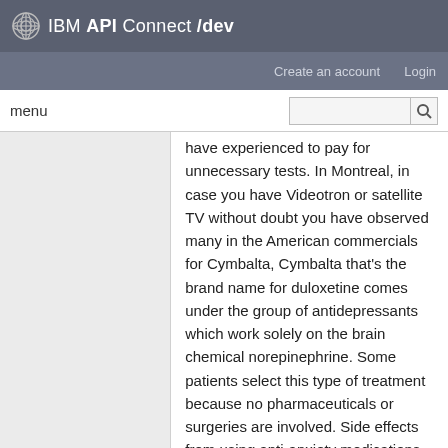IBM API Connect /dev
Create an account   Login
menu [search]
have experienced to pay for unnecessary tests. In Montreal, in case you have Videotron or satellite TV without doubt you have observed many in the American commercials for Cymbalta, Cymbalta that's the brand name for duloxetine comes under the group of antidepressants which work solely on the brain chemical norepinephrine. Some patients select this type of treatment because no pharmaceuticals or surgeries are involved. Side effects from using anti-anxiety medications include fatigue, drowsiness, decreased libido, weight gain or loss, depression, decreased memory and impaired coordination. Until